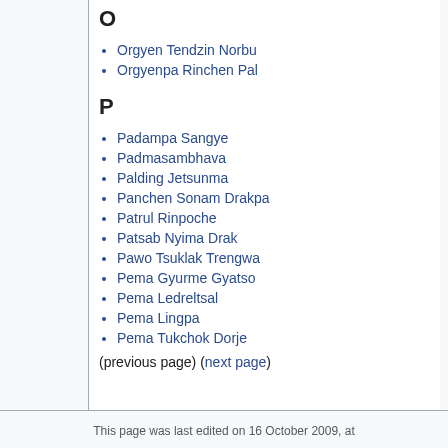O
Orgyen Tendzin Norbu
Orgyenpa Rinchen Pal
P
Padampa Sangye
Padmasambhava
Palding Jetsunma
Panchen Sonam Drakpa
Patrul Rinpoche
Patsab Nyima Drak
Pawo Tsuklak Trengwa
Pema Gyurme Gyatso
Pema Ledreltsal
Pema Lingpa
Pema Tukchok Dorje
(previous page) (next page)
This page was last edited on 16 October 2009, at 17:11.